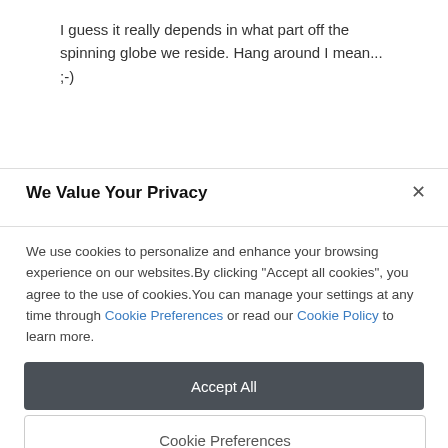I guess it really depends in what part off the spinning globe we reside. Hang around I mean... ;-)
We Value Your Privacy
We use cookies to personalize and enhance your browsing experience on our websites.By clicking "Accept all cookies", you agree to the use of cookies.You can manage your settings at any time through Cookie Preferences or read our Cookie Policy to learn more.
Accept All
Cookie Preferences